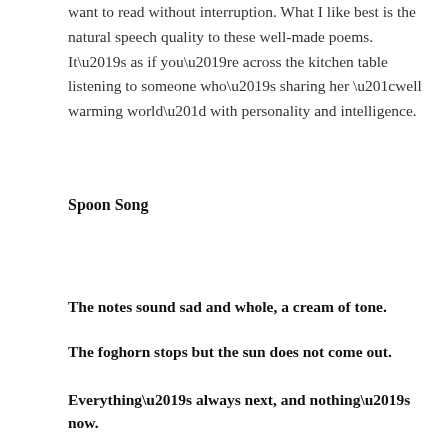want to read without interruption. What I like best is the natural speech quality to these well-made poems. It’s as if you’re across the kitchen table listening to someone who’s sharing her “well warming world” with personality and intelligence.
Spoon Song
The notes sound sad and whole, a cream of tone.
The foghorn stops but the sun does not come out.
Everything’s always next, and nothing’s now.